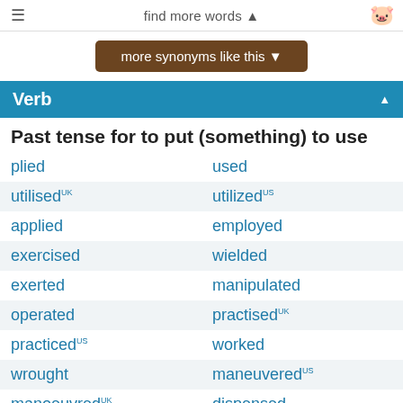find more words ▲
more synonyms like this ▼
Verb
Past tense for to put (something) to use
plied
used
utilisedUK
utilizedUS
applied
employed
exercised
wielded
exerted
manipulated
operated
practisedUK
practicedUS
worked
wrought
maneuveredUS
manoeuvredUK
dispensed
swang
swung